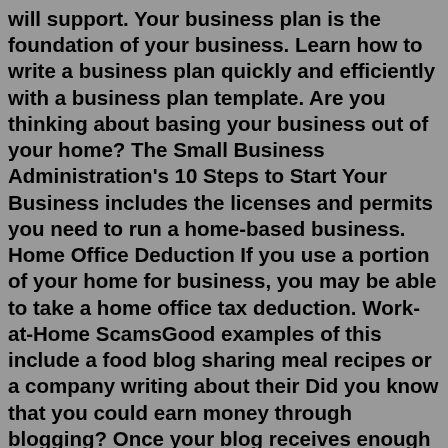will support. Your business plan is the foundation of your business. Learn how to write a business plan quickly and efficiently with a business plan template. Are you thinking about basing your business out of your home? The Small Business Administration's 10 Steps to Start Your Business includes the licenses and permits you need to run a home-based business. Home Office Deduction If you use a portion of your home for business, you may be able to take a home office tax deduction. Work-at-Home ScamsGood examples of this include a food blog sharing meal recipes or a company writing about their Did you know that you could earn money through blogging? Once your blog receives enough attention Using your blog as a content marketing tool for your business. If you're starting a blog as a way to...If you ever want to scale your business or grow, you will need help. And that begins with hiring your first employee. Here's how: Organize: Sit down and make a list of common tasks. Decide which must be done by you (client acquisition for instance) and which can and should be